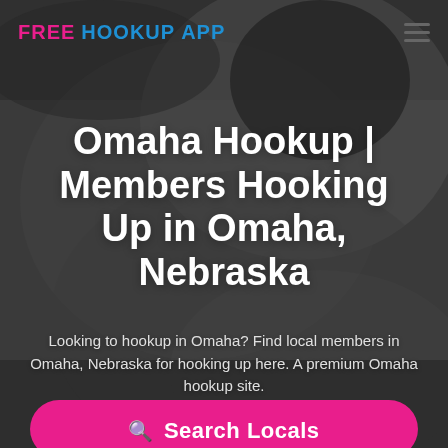[Figure (photo): Grayscale background photo of a couple in an intimate embrace, used as full-page hero background image]
FREE HOOKUP APP
Omaha Hookup | Members Hooking Up in Omaha, Nebraska
Looking to hookup in Omaha? Find local members in Omaha, Nebraska for hooking up here. A premium Omaha hookup site.
Search Locals